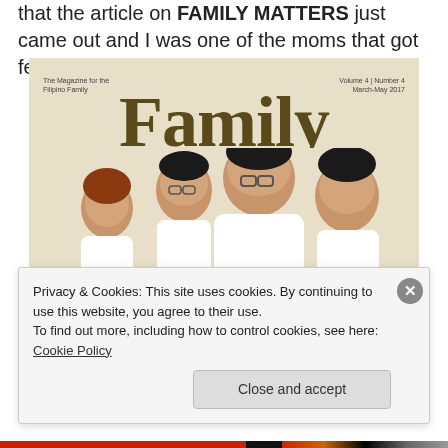that the article on FAMILY MATTERS just came out and I was one of the moms that got featured! I was ecstatic!
[Figure (photo): Cover of Family Matters magazine, Volume 4 Number 4, March-May 2017. Shows a Filipino family posing together in white clothing against a beige/cream background. The large bold title reads 'Family Matters' in olive/brown serif font.]
Privacy & Cookies: This site uses cookies. By continuing to use this website, you agree to their use.
To find out more, including how to control cookies, see here: Cookie Policy
Close and accept